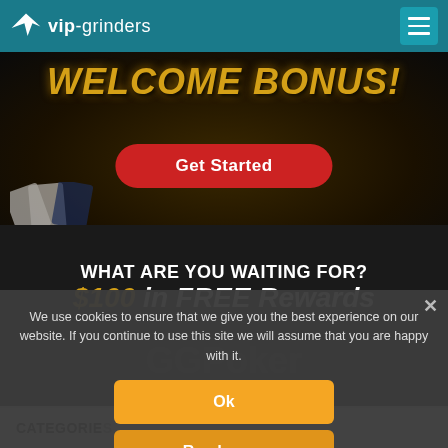vip-grinders
[Figure (screenshot): Casino welcome bonus banner with golden 'WELCOME BONUS!' text over a dark casino table background with playing cards and money, featuring a red 'Get Started' button]
WHAT ARE YOU WAITING FOR?
$100 in FREE Rewards
We use cookies to ensure that we give you the best experience on our website. If you continue to use this site we will assume that you are happy with it.
Ok
Read more
CATEGORIE